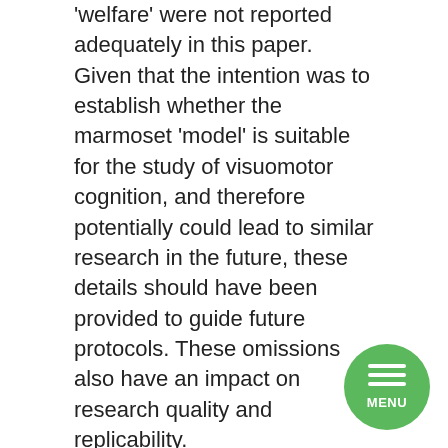'welfare' were not reported adequately in this paper. Given that the intention was to establish whether the marmoset 'model' is suitable for the study of visuomotor cognition, and therefore potentially could lead to similar research in the future, these details should have been provided to guide future protocols. These omissions also have an impact on research quality and replicability.
The lack of adequate reporting of anaesthesia and analgesics in animal experiments such as in this experiment is not unique. It has been an issue raised by others in the scientific community for some time. For example, a 'Retrospective review of anesthetic and analgesia regimens used in animal research proposals' by Herrmann & Flecknell (3) has highlighted the need for improvement of